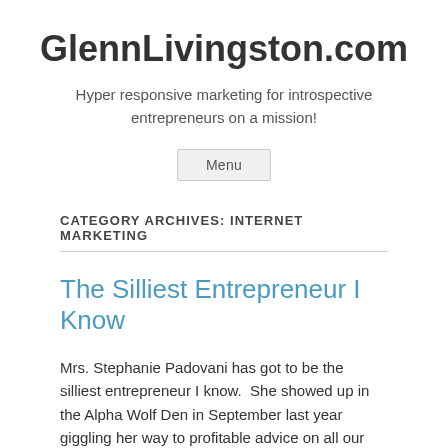GlennLivingston.com
Hyper responsive marketing for introspective entrepreneurs on a mission!
[Figure (other): Menu button]
CATEGORY ARCHIVES: INTERNET MARKETING
The Silliest Entrepreneur I Know
Mrs. Stephanie Padovani has got to be the silliest entrepreneur I know.  She showed up in the Alpha Wolf Den in September last year giggling her way to profitable advice on all our webinars, and has ever since been impressing me